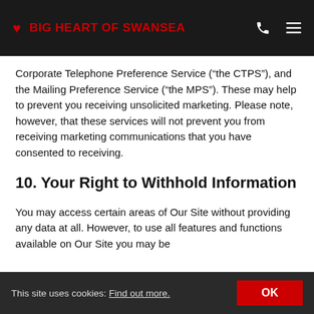BIG HEART OF SWANSEA
Corporate Telephone Preference Service (“the CTPS”), and the Mailing Preference Service (“the MPS”). These may help to prevent you receiving unsolicited marketing. Please note, however, that these services will not prevent you from receiving marketing communications that you have consented to receiving.
10. Your Right to Withhold Information
You may access certain areas of Our Site without providing any data at all. However, to use all features and functions available on Our Site you may be required to submit or allow for the collection of
This site uses cookies: Find out more.  OK